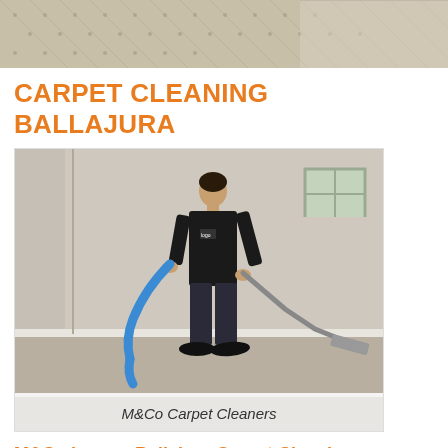[Figure (photo): Close-up photo of a textured carpet from above, beige/tan colored with a diagonal pattern]
CARPET CLEANING BALLAJURA
[Figure (photo): Photo of a carpet cleaning technician in a black uniform using a wand and hose to clean carpet in an empty room. Caption: M&Co Carpet Cleaners]
M&Co Carpet Cleaners
M&Co is your Ballajura Carpet Cleaning area Specialist: